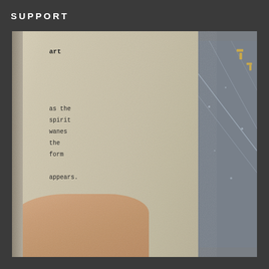SUPPORT
[Figure (photo): A photograph of an open book being held by a hand. The book page shows the word 'art' in bold typewriter font, followed by a poem in typewriter text reading 'as the / spirit / wanes / the / form / appears.' The right side of the image shows a cutting mat or desk surface. The book has aged, cream-colored pages.]